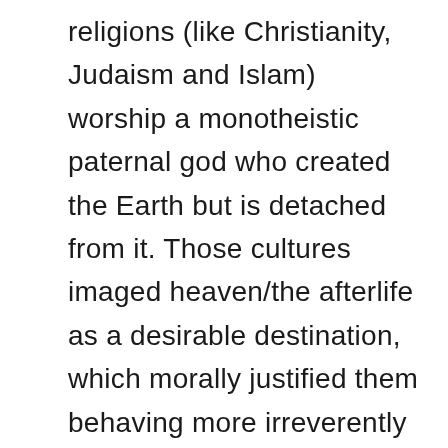religions (like Christianity, Judaism and Islam) worship a monotheistic paternal god who created the Earth but is detached from it. Those cultures imaged heaven/the afterlife as a desirable destination, which morally justified them behaving more irreverently towards the Earth - and the people closest to it. John Locke's 1689 Second Treatise of Government set the precedent for European colonialists to steal land from Indigenous peoples around the world. This "legally" permitted them to parcel Indigenous lands after it was mixed with their labour. We called it land "rematriation" now when this unceded land is returned.